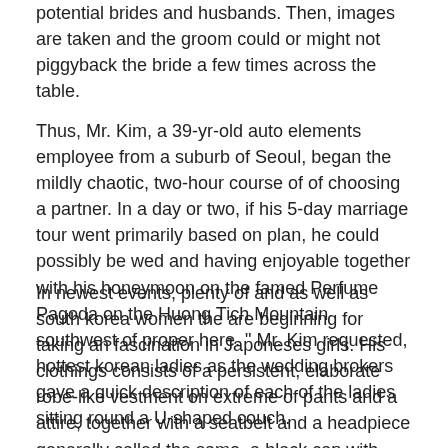potential brides and husbands. Then, images are taken and the groom could or might not piggyback the bride a few times across the table.
Thus, Mr. Kim, a 39-yr-old auto elements employee from a suburb of Seoul, began the mildly chaotic, two-hour course of of choosing a partner. In a day or two, if his 5-day marriage tour went primarily based on plan, he could possibly be wed and having enjoyable together with his honeymoon on the famed Perfume Pagoda on the Huong Tich Mountain southwest of proper here. " Mr. Kim requested, hottest korean ladies as the wedding brokers gave a quick description of each of the ladies sitting round a U-shaped couch.
In newest events, plenty of and as well as south korea women the are beginning for taking an fascination in Japoneses girls. His clothings consists of a persistent, elaborate robe-like vestment on extreme of pants and a attire, together with a seatbelt and a headpiece generally called the samo, a black cap with wings on the edges. The a smaller amount for groom might determine to easily don pants referred to as baji and a apparel known as a jeogori. During this period patrilocal